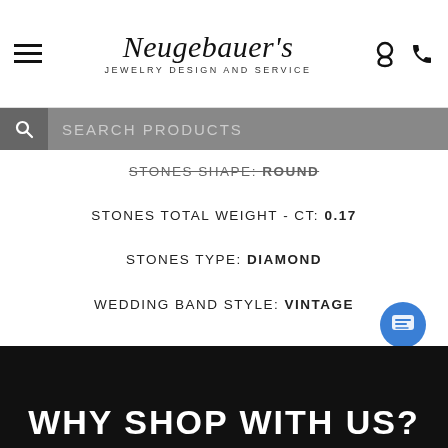Neugebauer's Jewelry Design and Service
SEARCH PRODUCTS
STONES SHAPE: ROUND
STONES TOTAL WEIGHT - CT: 0.17
STONES TYPE: DIAMOND
WEDDING BAND STYLE: VINTAGE
Need immediate assistance?
Call (605) 348-4557
WHY SHOP WITH US?